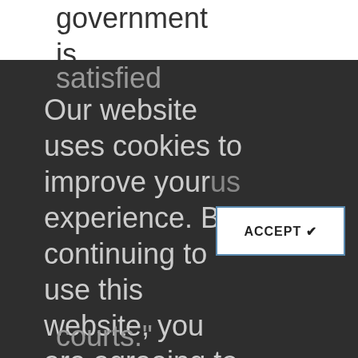government is likely
satisfied
Our website uses cookies to improve your us experience. By continuing to use this website, you are agreeing to our Cookie Policy.
ACCEPT ✔
courts."